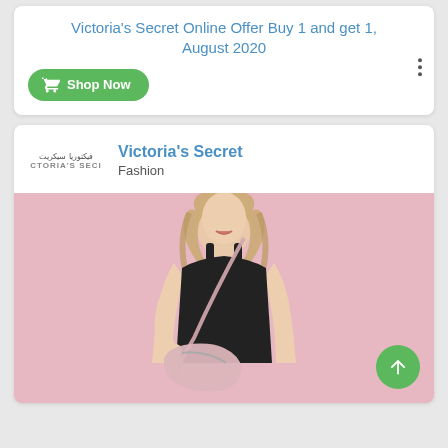Victoria's Secret Online Offer Buy 1 and get 1, August 2020
Shop Now
Victoria's Secret
Fashion
[Figure (photo): Fashion model in black tank top holding a pink handbag against a pink background]